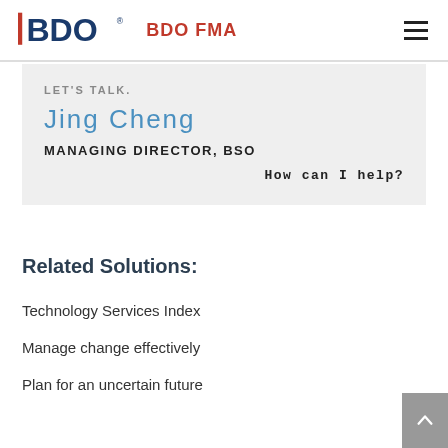BDO | BDO FMA
LET'S TALK.
Jing Cheng
MANAGING DIRECTOR, BSO
How can I help?
Related Solutions:
Technology Services Index
Manage change effectively
Plan for an uncertain future